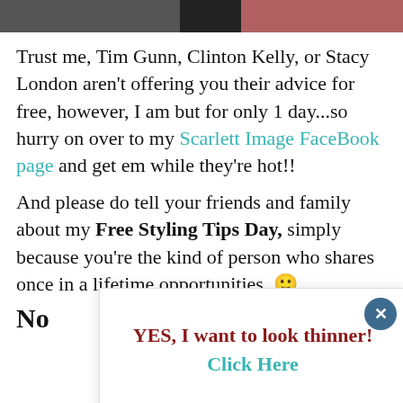[Figure (photo): Cropped photo strip showing partial images of people, dark and reddish tones]
Trust me, Tim Gunn, Clinton Kelly, or Stacy London aren't offering you their advice for free, however, I am but for only 1 day...so hurry on over to my Scarlett Image FaceBook page and get em while they're hot!!
And please do tell your friends and family about my Free Styling Tips Day, simply because you're the kind of person who shares once in a lifetime opportunities. 🙂
No
[Figure (other): Popup dialog with close button, heading 'YES, I want to look thinner!' and link 'Click Here']